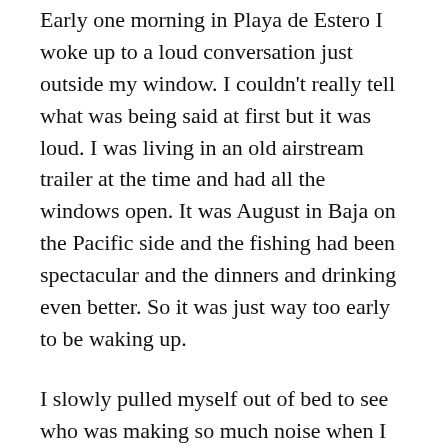Early one morning in Playa de Estero I woke up to a loud conversation just outside my window. I couldn't really tell what was being said at first but it was loud. I was living in an old airstream trailer at the time and had all the windows open. It was August in Baja on the Pacific side and the fishing had been spectacular and the dinners and drinking even better. So it was just way too early to be waking up.
I slowly pulled myself out of bed to see who was making so much noise when I saw and learned something very special. Three old friends were straddling their bicycles out front. They were so intent talking that they didn't notice me .
It was Kim Gordons and He Most Bala…